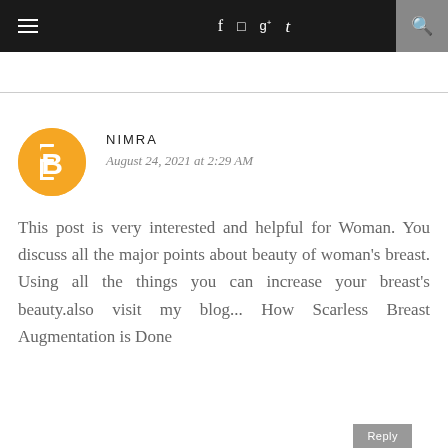≡  f  [instagram]  g+  t  [search]
NIMRA
August 24, 2021 at 2:29 AM

This post is very interested and helpful for Woman. You discuss all the major points about beauty of woman's breast. Using all the things you can increase your breast's beauty.also visit my blog... How Scarless Breast Augmentation is Done